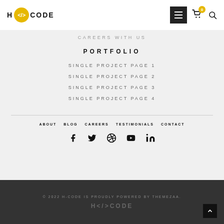[Figure (logo): H-CODE logo with golden circle containing </> icon and text H CODE]
[Figure (other): Hamburger menu button (dark square with three white lines), cart icon with badge showing 0, and search icon]
CAREERS WITH US
PORTFOLIO
SINGLE PROJECT PAGE 1
SINGLE PROJECT PAGE 2
SINGLE PROJECT PAGE 3
SINGLE PROJECT PAGE 4
ABOUT  BLOG  CAREERS  TESTIMONIALS  CONTACT
[Figure (other): Social media icons: Facebook, Twitter, Dribbble, YouTube, LinkedIn]
© 2022 H-CODE IS PROUDLY POWERED BY THEMEZAA.
H</> CODE